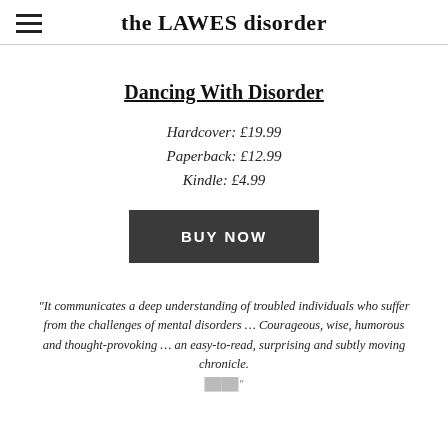the LAWES disorder
Dancing With Disorder
Hardcover: £19.99
Paperback: £12.99
Kindle: £4.99
BUY NOW
"It communicates a deep understanding of troubled individuals who suffer from the challenges of mental disorders … Courageous, wise, humorous and thought-provoking … an easy-to-read, surprising and subtly moving chronicle."